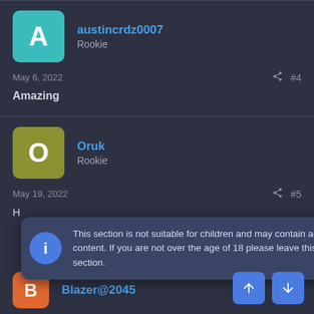austincrdz0007
Rookie
May 6, 2022  #4
Amazing
Oruk
Rookie
May 19, 2022  #5
This section is not suitable for children and may contain adult content. If you are not over the age of 18 please leave this section.
Blazer@2045